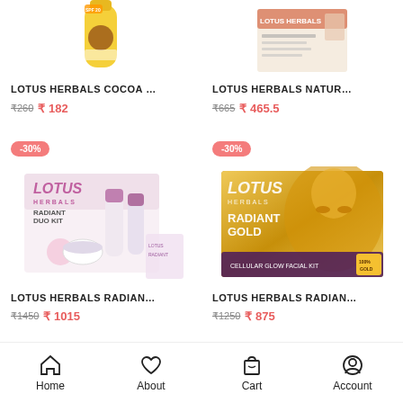[Figure (photo): Lotus Herbals Cocoa product bottle, yellow packaging, partially visible at top]
[Figure (photo): Lotus Herbals Natur facial kit box, peach/beige packaging, partially visible at top]
LOTUS HERBALS COCOA …
₹260 ₹182
LOTUS HERBALS NATUR…
₹665 ₹ 465.5
[Figure (photo): Lotus Herbals Radiant Duo kit box, white and pink packaging with products]
[Figure (photo): Lotus Herbals Radiant Gold Cellular Glow Facial kit, gold packaging with woman]
LOTUS HERBALS RADIAN…
₹1450 ₹1015
LOTUS HERBALS RADIAN…
₹1250 ₹ 875
Home  About  Cart  Account